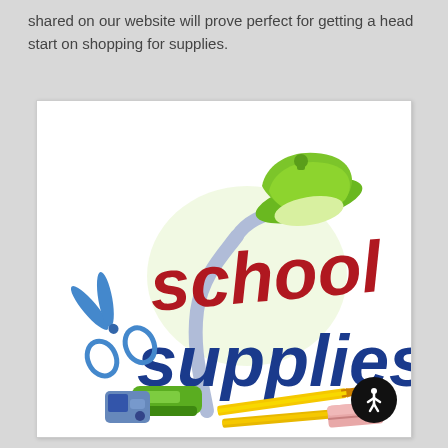shared on our website will prove perfect for getting a head start on shopping for supplies.
[Figure (illustration): Colorful school supplies clipart illustration featuring a green desk lamp, bold red 'school' text, blue 'supplies' text, blue scissors, a green stapler, a pencil sharpener, yellow pencils, and a pink eraser.]